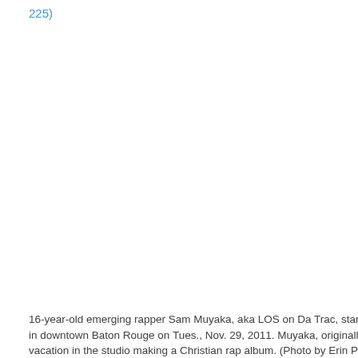225)
[Figure (photo): A large blank/white area representing a photo of 16-year-old emerging rapper Sam Muyaka, aka LOS on Da Trac, standing inside the studio at the Mentorship Academy in downtown Baton Rouge.]
16-year-old emerging rapper Sam Muyaka, aka LOS on Da Trac, stands inside the studio at the Mentorship Academy in downtown Baton Rouge on Tues., Nov. 29, 2011. Muyaka, originally from the Congo, spent his entire summer vacation in the studio making a Christian rap album. (Photo by Erin Parker /